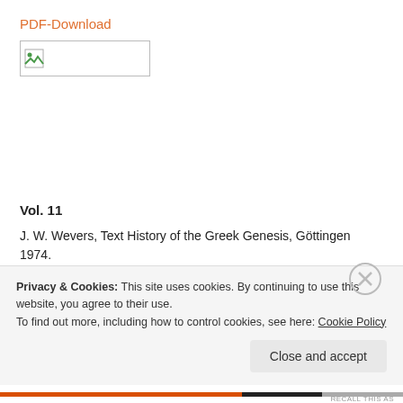PDF-Download
[Figure (other): Broken image placeholder box with small landscape icon]
Vol. 11
J. W. Wevers, Text History of the Greek Genesis, Göttingen 1974.
PDF-Download
Privacy & Cookies: This site uses cookies. By continuing to use this website, you agree to their use.
To find out more, including how to control cookies, see here: Cookie Policy
Close and accept